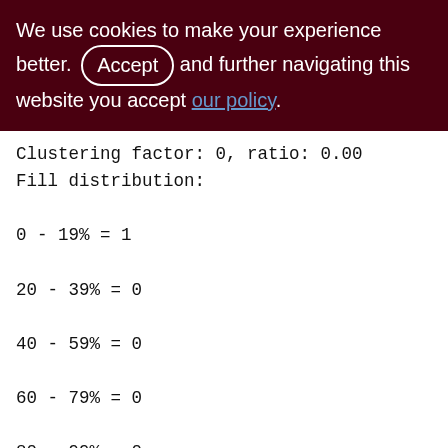We use cookies to make your experience better. By accepting and further navigating this website you accept our policy.
Clustering factor: 0, ratio: 0.00
Fill distribution:
0 - 19% = 1
20 - 39% = 0
40 - 59% = 0
60 - 79% = 0
80 - 99% = 0

Index MON_LOG_ROWSET_DESC (1)
Root page: 364, depth: 1, leaf buckets: 1, nodes: 0
Average node length: 0.00, total dup: 0, max dup: 0